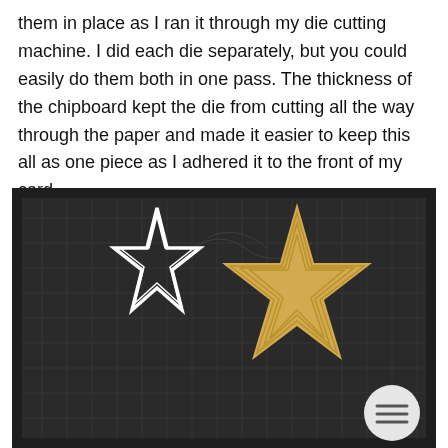them in place as I ran it through my die cutting machine. I did each die separately, but you could easily do them both in one pass. The thickness of the chipboard kept the die from cutting all the way through the paper and made it easier to keep this all as one piece as I adhered it to the front of my card.
[Figure (photo): A dark cutting mat with a grid pattern showing two star shapes: a smaller white outline star on the left and a larger solid gold/yellow star with embossed concentric star lines on the right. A round button with a hamburger menu icon is visible in the bottom right corner.]